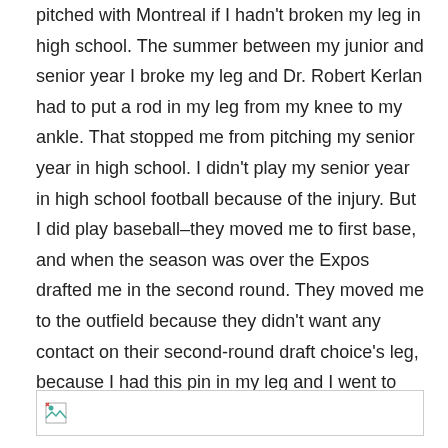pitched with Montreal if I hadn't broken my leg in high school. The summer between my junior and senior year I broke my leg and Dr. Robert Kerlan had to put a rod in my leg from my knee to my ankle. That stopped me from pitching my senior year in high school. I didn't play my senior year in high school football because of the injury. But I did play baseball–they moved me to first base, and when the season was over the Expos drafted me in the second round. They moved me to the outfield because they didn't want any contact on their second-round draft choice's leg, because I had this pin in my leg and I went to right field.
[Figure (other): Broken image placeholder icon]